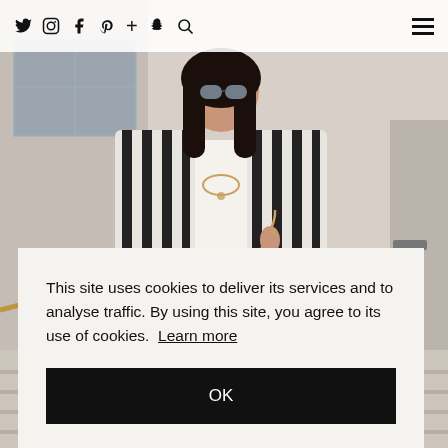Social icons: Twitter, Instagram, Facebook, Pinterest, Plus, Snapchat, Search | Hamburger menu
[Figure (photo): Fashion blogger wearing a black and white striped blazer, white blouse, holding a pink quilted chain bag, wearing sunglasses, standing on steps of a building]
This site uses cookies to deliver its services and to analyse traffic. By using this site, you agree to its use of cookies. Learn more
OK